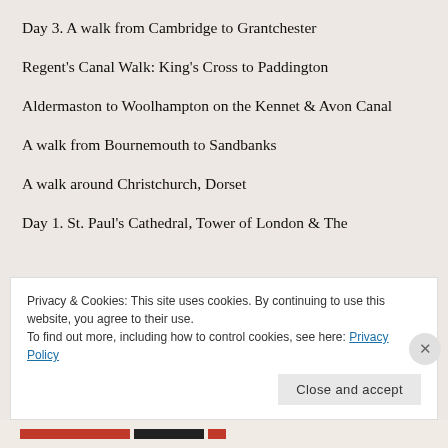Day 3. A walk from Cambridge to Grantchester
Regent's Canal Walk: King's Cross to Paddington
Aldermaston to Woolhampton on the Kennet & Avon Canal
A walk from Bournemouth to Sandbanks
A walk around Christchurch, Dorset
Day 1. St. Paul's Cathedral, Tower of London & The
Privacy & Cookies: This site uses cookies. By continuing to use this website, you agree to their use.
To find out more, including how to control cookies, see here: Privacy Policy